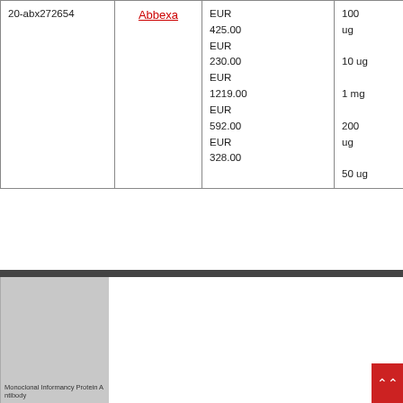| ID | Supplier | Price | Quantity |
| --- | --- | --- | --- |
| 20-abx272654 | Abbexa | EUR 425.00
EUR 230.00
EUR 1219.00
EUR 592.00
EUR 328.00 | 100 ug
10 ug
1 mg
200 ug
50 ug |
[Figure (screenshot): Screenshot of a webpage showing Monoclonal Informancy Protein antibody product listing]